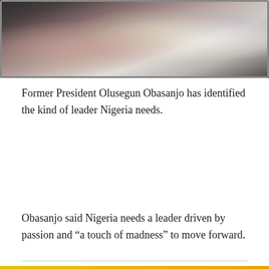[Figure (photo): Partial photo of people at top of page, blurred/cropped, dark and light tones]
Former President Olusegun Obasanjo has identified the kind of leader Nigeria needs.
Obasanjo said Nigeria needs a leader driven by passion and “a touch of madness” to move forward.
[Figure (infographic): Social media sharing buttons row: Facebook, Twitter, Reddit, LinkedIn, Pinterest, MeWe, Mix, WhatsApp, Share]